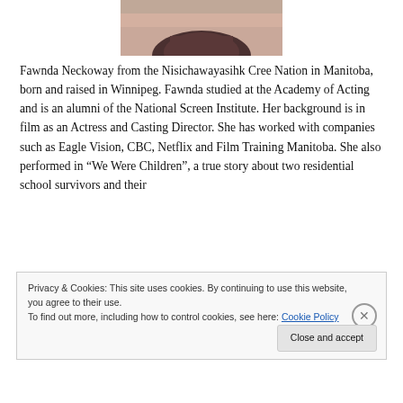[Figure (photo): Bottom portion of a person's face and hair, cropped photo shown at the top of the page]
Fawnda Neckoway from the Nisichawayasihk Cree Nation in Manitoba, born and raised in Winnipeg. Fawnda studied at the Academy of Acting and is an alumni of the National Screen Institute. Her background is in film as an Actress and Casting Director. She has worked with companies such as Eagle Vision, CBC, Netflix and Film Training Manitoba. She also performed in “We Were Children”, a true story about two residential school survivors and their
Privacy & Cookies: This site uses cookies. By continuing to use this website, you agree to their use.
To find out more, including how to control cookies, see here: Cookie Policy
Close and accept